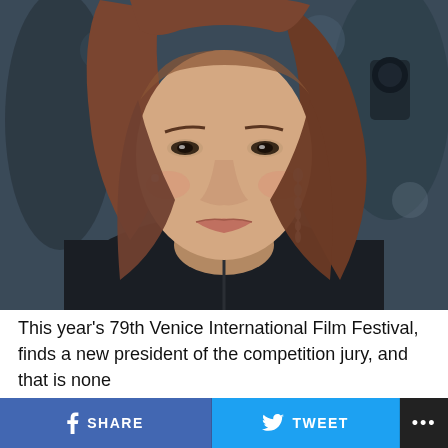[Figure (photo): A woman with shoulder-length auburn hair wearing a black leather top and long dangling crystal earrings, photographed at what appears to be a film festival red carpet event. Blurred figures and camera equipment visible in background.]
This year’s 79th Venice International Film Festival, finds a new president of the competition jury, and that is none
[Figure (other): Social sharing bar with Facebook SHARE button (blue), Twitter TWEET button (light blue), and a more options button (black with ellipsis)]